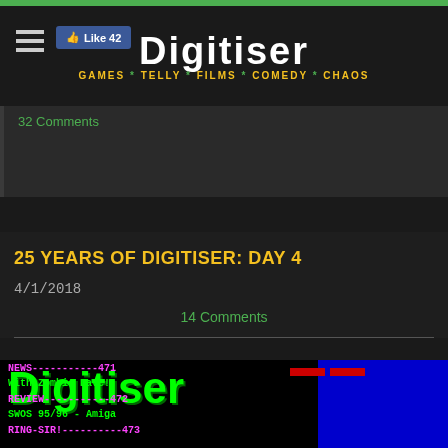Digitiser — GAMES * TELLY * FILMS * COMEDY * CHAOS — Like 42
32 Comments
25 YEARS OF DIGITISER: DAY 4
4/1/2018
14 Comments
[Figure (screenshot): Retro Digitiser teletext screen with green pixel logo, blue blocky background, pink and green text lines reading NEWS-----------471 With Zombie Dave!, REVIEW-----------472 SWOS 95/96 - Amiga, RING-SIR!-----------473]